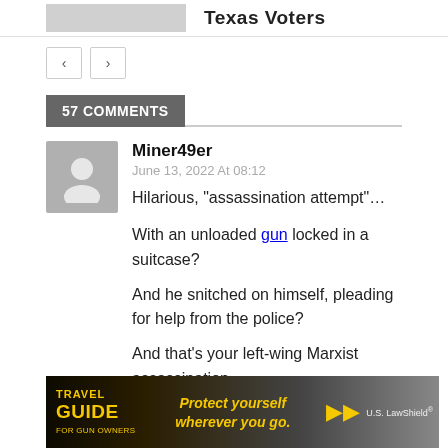Texas Voters
57 COMMENTS
Miner49er
June 13, 2022 At 08:12
Hilarious, “assassination attempt”…

With an unloaded gun locked in a suitcase?

And he snitched on himself, pleading for help from the police?

And that’s your left-wing Marxist assassination
[Figure (photo): Advertisement banner: Travel Guide for Gun Owners - Protect yourself wherever you go. US LawShield logo.]